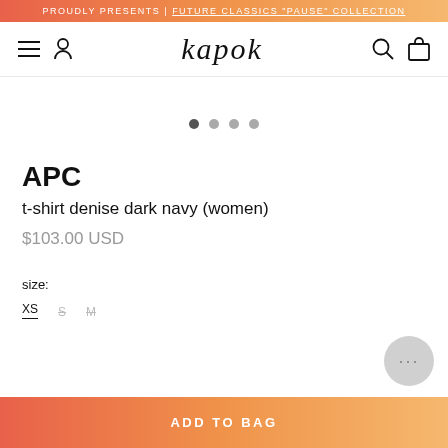PROUDLY PRESENTS | FUTURE CLASSICS "PAUSE" COLLECTION
kapok
[Figure (other): Image carousel pagination dots — 4 dots, first one active/dark]
APC
t-shirt denise dark navy (women)
$103.00 USD
size:
XS  S  M
ADD TO BAG